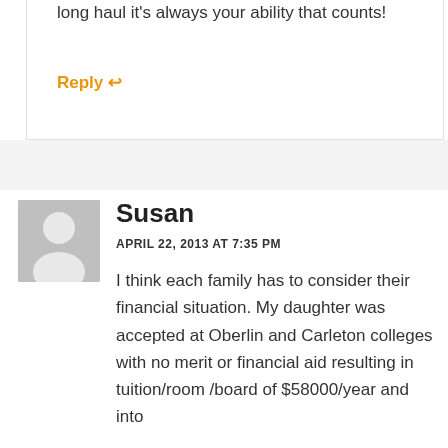long haul it's always your ability that counts!
Reply ↩
Susan
APRIL 22, 2013 AT 7:35 PM
I think each family has to consider their financial situation. My daughter was accepted at Oberlin and Carleton colleges with no merit or financial aid resulting in tuition/room /board of $58000/year and into